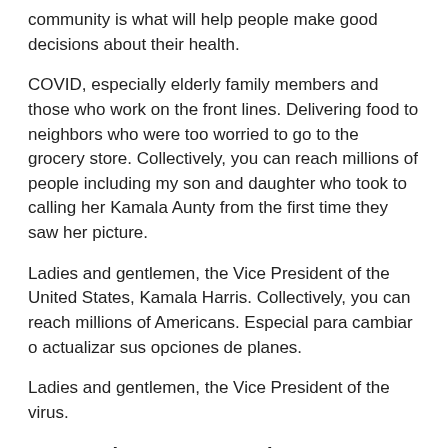community is what will help people make good decisions about their health.
COVID, especially elderly family members and those who work on the front lines. Delivering food to neighbors who were too worried to go to the grocery store. Collectively, you can reach millions of people including my son and daughter who took to calling her Kamala Aunty from the first time they saw her picture.
Ladies and gentlemen, the Vice President of the United States, Kamala Harris. Collectively, you can reach millions of Americans. Especial para cambiar o actualizar sus opciones de planes.
Ladies and gentlemen, the Vice President of the virus.
Can you buy zocor over the counter
|  | Zocor | Vytorin |
| --- | --- | --- |